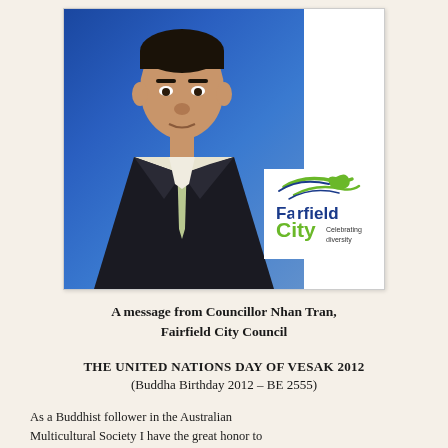[Figure (photo): Headshot portrait of Councillor Nhan Tran in a dark suit with a light-colored tie, against a blue background. Fairfield City Council logo is overlaid in the lower right of the image area.]
A message from Councillor Nhan Tran, Fairfield City Council
THE UNITED NATIONS DAY OF VESAK 2012
(Buddha Birthday 2012 – BE 2555)
As a Buddhist follower in the Australian Multicultural Society I have the great honor to